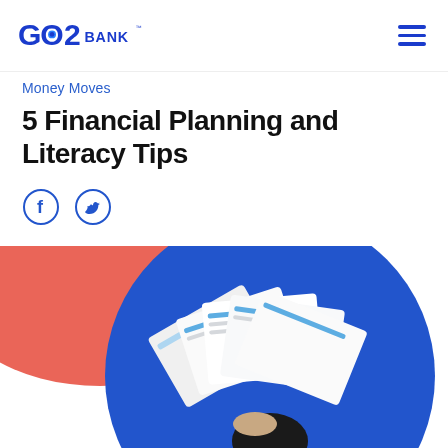GO2 BANK
Money Moves
5 Financial Planning and Literacy Tips
[Figure (illustration): Social media share icons: Facebook (f) and Twitter (bird) inside circles, outlined in blue]
[Figure (photo): Person holding multiple financial documents fanned out in front of their face, against a blue circular background with a red blob shape, partially cropped at bottom of page]